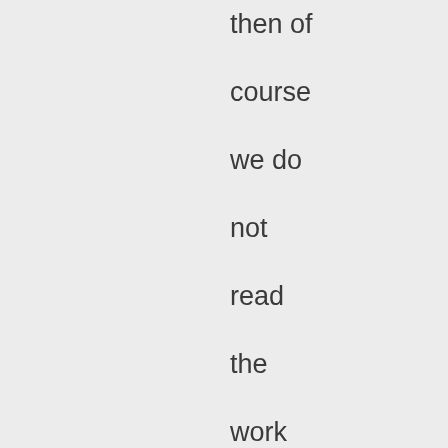then of course we do not read the work the old writer intended. What we get may still be, in my